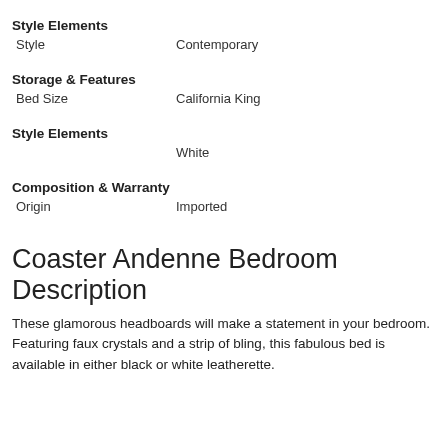Style Elements
| Style | Contemporary |
Storage & Features
| Bed Size | California King |
Style Elements
|  | White |
Composition & Warranty
| Origin | Imported |
Coaster Andenne Bedroom Description
These glamorous headboards will make a statement in your bedroom. Featuring faux crystals and a strip of bling, this fabulous bed is available in either black or white leatherette.